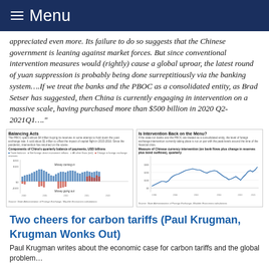Menu
appreciated even more. Its failure to do so suggests that the Chinese government is leaning against market forces. But since conventional intervention measures would (rightly) cause a global uproar, the latest round of yuan suppression is probably being done surreptitiously via the banking system….If we treat the banks and the PBOC as a consolidated entity, as Brad Setser has suggested, then China is currently engaging in intervention on a massive scale, having purchased more than $500 billion in 2020 Q2-2021Q1…."
[Figure (continuous-plot): Balancing Acts: Components of China's quarterly balance of payments, USD billions. Shows trade balance, net foreign direct investment inflows, all other flows, and change in foreign exchange reserves over time from ~2000 to 2020. The chart shows 'Money coming in' and 'Money going out' labels. Source: State Administration of Foreign Exchange, Mauldin Economics calculations.]
[Figure (continuous-plot): Is Intervention Back on the Menu? Measure of Chinese currency intervention (on bank flows plus change in reserves plus bond outflows), quarterly. Line chart showing data from approximately 1998 to 2021. Source: State Administration of Foreign Exchange, Mauldin Economics calculations.]
Two cheers for carbon tariffs (Paul Krugman, Krugman Wonks Out)
Paul Krugman writes about the economic case for carbon tariffs and the global problem...